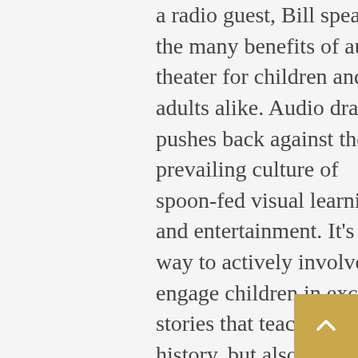a radio guest, Bill speaks to the many benefits of audio theater for children and adults alike. Audio drama pushes back against the prevailing culture of spoon-fed visual learning and entertainment. It's a way to actively involve and engage children in exciting stories that teach not only history, but also